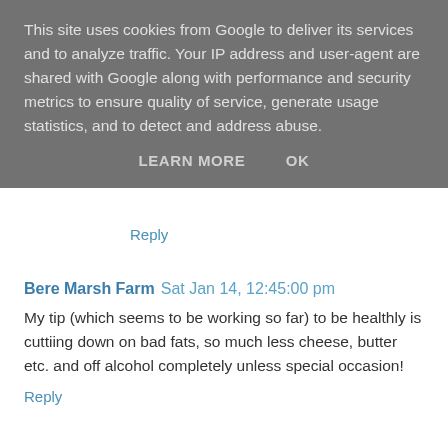This site uses cookies from Google to deliver its services and to analyze traffic. Your IP address and user-agent are shared with Google along with performance and security metrics to ensure quality of service, generate usage statistics, and to detect and address abuse.
LEARN MORE   OK
Reply
Bere Marsh Farm  Sat Jan 14, 12:45:00 pm
My tip (which seems to be working so far) to be healthly is cuttiing down on bad fats, so much less cheese, butter etc. and off alcohol completely unless special occasion!
Reply
Bere Marsh Farm  Sat Jan 14, 12:46:00 pm
Have also retweeted as asked!
Reply